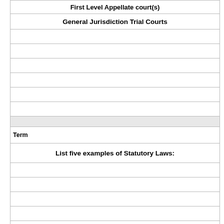| First Level Appellate court(s) |
| General Jurisdiction Trial Courts |
|  |
|  |
|  |
|  |
|  |
|  |
| Term |
| List five examples of Statutory Laws: |
|  |
|  |
|  |
|  |
|  |
| Definition |